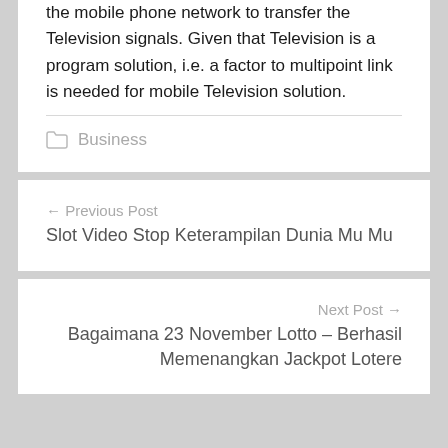the mobile phone network to transfer the Television signals. Given that Television is a program solution, i.e. a factor to multipoint link is needed for mobile Television solution.
Business
← Previous Post
Slot Video Stop Keterampilan Dunia Mu Mu
Next Post →
Bagaimana 23 November Lotto – Berhasil Memenangkan Jackpot Lotere